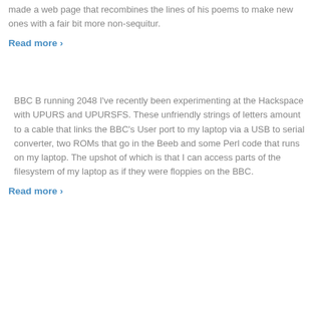made a web page that recombines the lines of his poems to make new ones with a fair bit more non-sequitur.
Read more ›
BBC B running 2048 I've recently been experimenting at the Hackspace with UPURS and UPURSFS. These unfriendly strings of letters amount to a cable that links the BBC's User port to my laptop via a USB to serial converter, two ROMs that go in the Beeb and some Perl code that runs on my laptop. The upshot of which is that I can access parts of the filesystem of my laptop as if they were floppies on the BBC.
Read more ›